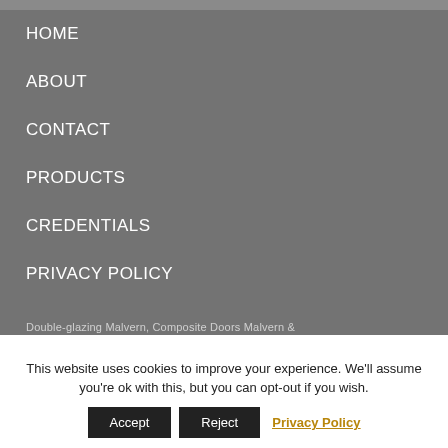HOME
ABOUT
CONTACT
PRODUCTS
CREDENTIALS
PRIVACY POLICY
Double-glazing Malvern, Composite Doors Malvern &
This website uses cookies to improve your experience. We'll assume you're ok with this, but you can opt-out if you wish.
Accept   Reject   Privacy Policy